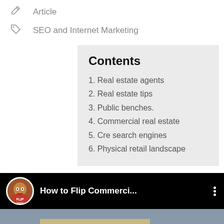Article
SEO and Internet Marketing
Contents
1. Real estate agents
2. Real estate tips
3. Public benches.
4. Commercial real estate
5. Cre search engines
6. Physical retail landscape
[Figure (screenshot): YouTube video thumbnail for 'How to Flip Commerci...' with a cartoon avatar and a storefront with peace sign graffiti]